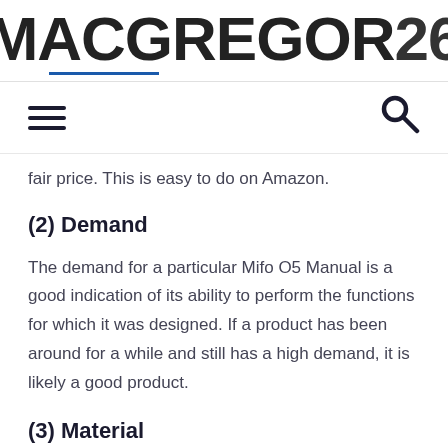MACGREGOR26
fair price. This is easy to do on Amazon.
(2) Demand
The demand for a particular Mifo O5 Manual is a good indication of its ability to perform the functions for which it was designed. If a product has been around for a while and still has a high demand, it is likely a good product.
(3) Material